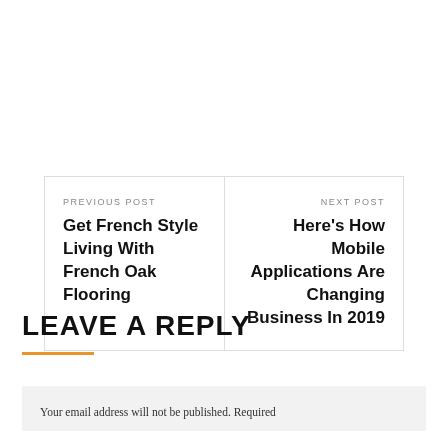PREVIOUS POST
Get French Style Living With French Oak Flooring
NEXT POST
Here's How Mobile Applications Are Changing Business In 2019
LEAVE A REPLY
Your email address will not be published. Required